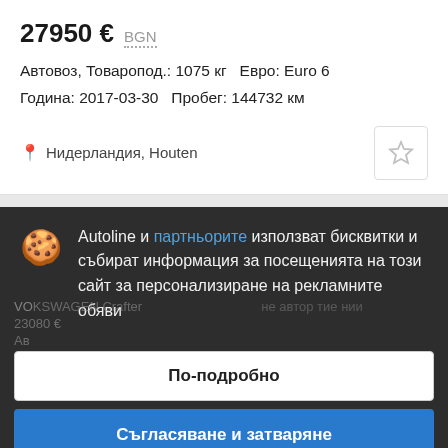27950 € BGN
Автовоз, Товаропод.: 1075 кг  Евро: Euro 6
Година: 2017-03-30  Пробег: 144732 км
📍 Нидерландия, Houten
Autoline и партньорите използват бисквитки и събират информация за посещенията на този сайт за персонализиране на рекламните обяви
По-подробно
Съгласяване и затваряне